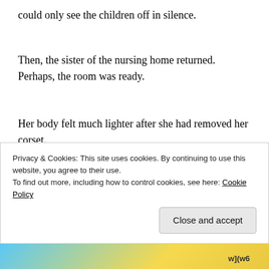could only see the children off in silence.
Then, the sister of the nursing home returned. Perhaps, the room was ready.
Her body felt much lighter after she had removed her corset.
“I’m sorry. I only have simple garments.”
“Th... will... affi...
Privacy & Cookies: This site uses cookies. By continuing to use this website, you agree to their use.
To find out more, including how to control cookies, see here: Cookie Policy
Close and accept